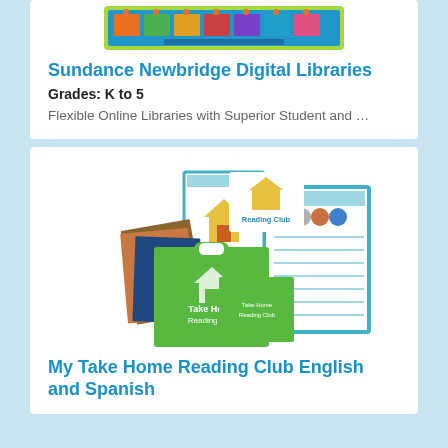[Figure (screenshot): Screenshot of the Sundance Newbridge Digital Libraries interface showing a digital reading platform with book covers and navigation elements on a blue and green background.]
Sundance Newbridge Digital Libraries
Grades: K to 5
Flexible Online Libraries with Superior Student and …
[Figure (photo): Photo of the My Take Home Reading Club kit showing a green carry box, teacher guide binder, activity sheets, and book materials with the Take Home Reading Club logo featuring a house icon.]
My Take Home Reading Club English and Spanish